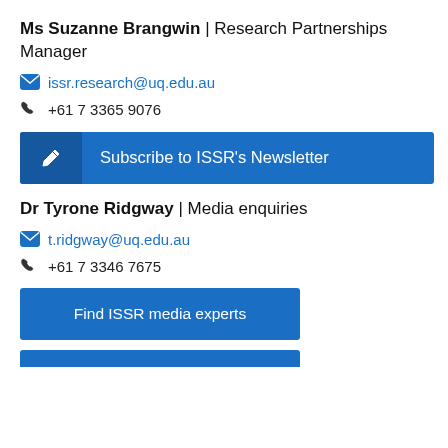Ms Suzanne Brangwin | Research Partnerships Manager
issr.research@uq.edu.au
+61 7 3365 9076
Subscribe to ISSR's Newsletter
Dr Tyrone Ridgway | Media enquiries
t.ridgway@uq.edu.au
+61 7 3346 7675
Find ISSR media experts